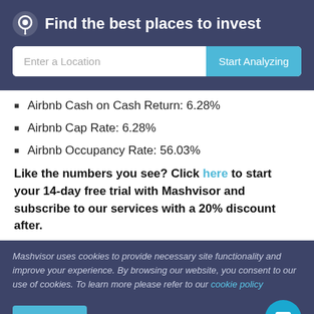Find the best places to invest
Airbnb Cash on Cash Return: 6.28%
Airbnb Cap Rate: 6.28%
Airbnb Occupancy Rate: 56.03%
Like the numbers you see? Click here to start your 14-day free trial with Mashvisor and subscribe to our services with a 20% discount after.
Mashvisor uses cookies to provide necessary site functionality and improve your experience. By browsing our website, you consent to our use of cookies. To learn more please refer to our cookie policy